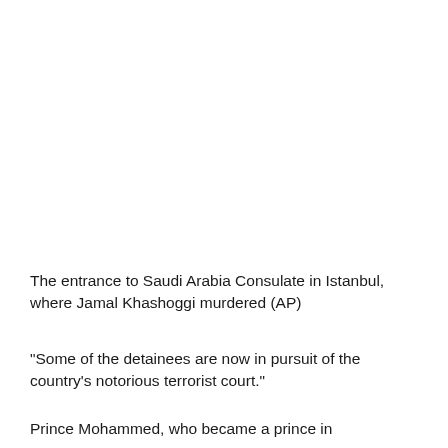The entrance to Saudi Arabia Consulate in Istanbul, where Jamal Khashoggi murdered (AP)
"Some of the detainees are now in pursuit of the country's notorious terrorist court."
Prince Mohammed, who became a prince in